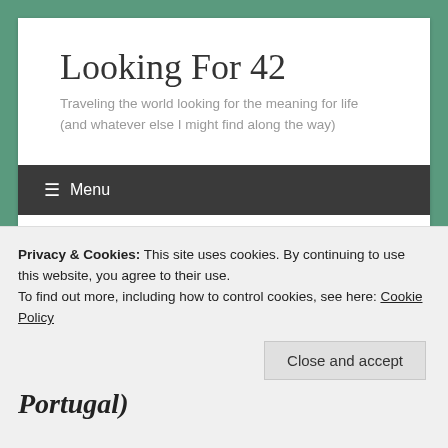Looking For 42
Traveling the world looking for the meaning for life (and whatever else I might find along the way)
≡ Menu
Fishermen's Trail day 1: Portugal)
Privacy & Cookies: This site uses cookies. By continuing to use this website, you agree to their use.
To find out more, including how to control cookies, see here: Cookie Policy
Close and accept